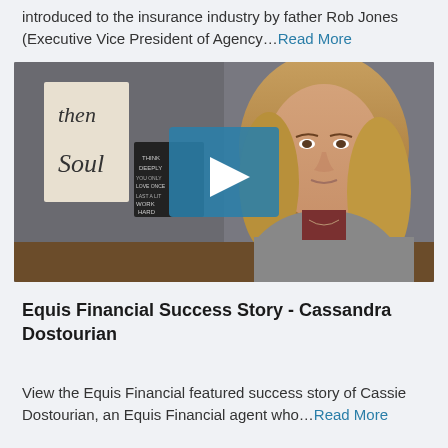introduced to the insurance industry by father Rob Jones (Executive Vice President of Agency…Read More
[Figure (screenshot): Video thumbnail showing a blonde woman seated in front of a grey background with decorative signs. A teal play button overlay is centered on the image.]
Equis Financial Success Story - Cassandra Dostourian
View the Equis Financial featured success story of Cassie Dostourian, an Equis Financial agent who…Read More